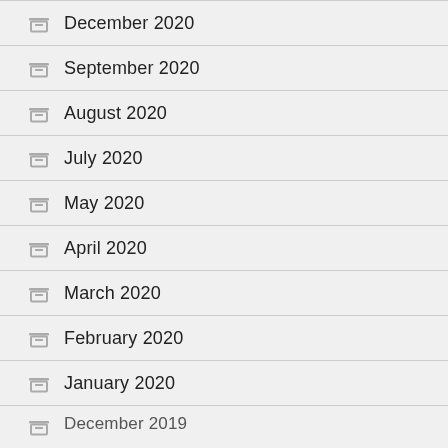December 2020
September 2020
August 2020
July 2020
May 2020
April 2020
March 2020
February 2020
January 2020
December 2019